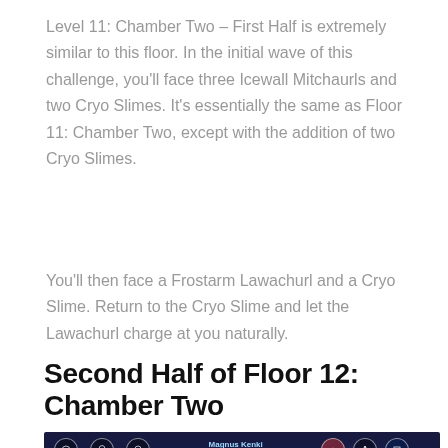Level 11: Chamber Two – First Half is extremely similar to this floor. In the initial wave of this challenge, you'll face three Icewall Mitchaurls and two Cryo Slimes. It's essentially the same as Floor 11: Chamber Two, except with the addition of two Cryo Slimes.
You'll then face a Frostarm Lawachurl and a Cryo Slime. Return to the Cryo Slime and let the Lawachurl charge at you naturally.
Second Half of Floor 12: Chamber Two
[Figure (screenshot): Game screenshot showing a battle scene with blue and purple glowing effects, game HUD with icons, a centered timer showing 08:30, and character name 'Magnus Kenki' displayed at top center.]